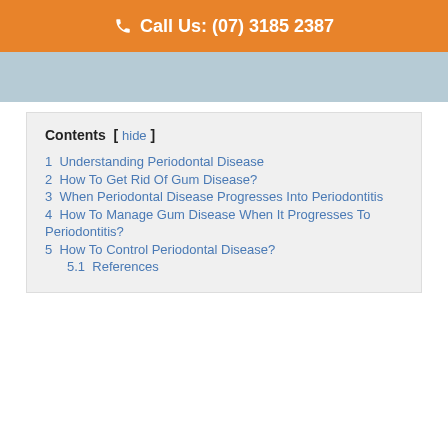Call Us: (07) 3185 2387
[Figure (photo): Partial dental/medical image strip showing a clinical scene]
Contents
1  Understanding Periodontal Disease
2  How To Get Rid Of Gum Disease?
3  When Periodontal Disease Progresses Into Periodontitis
4  How To Manage Gum Disease When It Progresses To Periodontitis?
5  How To Control Periodontal Disease?
5.1  References